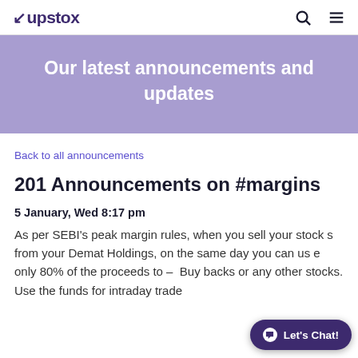upstox
Our latest announcements and updates
Back to all announcements
201 Announcements on #margins
5 January, Wed 8:17 pm
As per SEBI's peak margin rules, when you sell your stocks from your Demat Holdings, on the same day you can use only 80% of the proceeds to - Buy back stocks or any other stocks. Use the funds for intraday trade